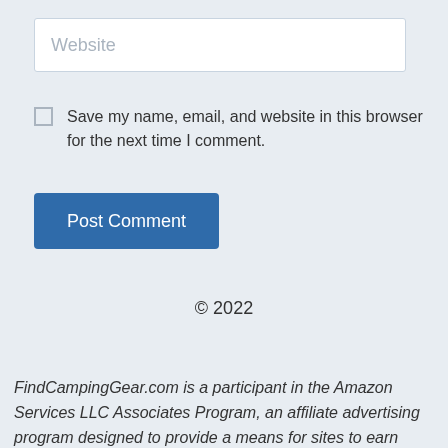Website
Save my name, email, and website in this browser for the next time I comment.
Post Comment
© 2022
FindCampingGear.com is a participant in the Amazon Services LLC Associates Program, an affiliate advertising program designed to provide a means for sites to earn